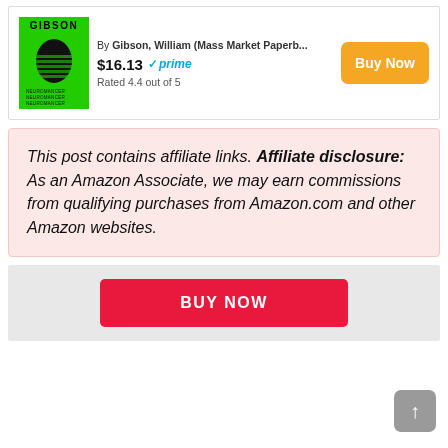[Figure (screenshot): Product listing card showing a Gibson book cover (green background with face illustration and 'GIBSON' text), author byline 'By Gibson, William (Mass Market Paperb...', price '$16.13', Amazon Prime badge, 'Rated 4.4 out of 5', and an orange 'Buy Now' button]
This post contains affiliate links. Affiliate disclosure: As an Amazon Associate, we may earn commissions from qualifying purchases from Amazon.com and other Amazon websites.
BUY NOW